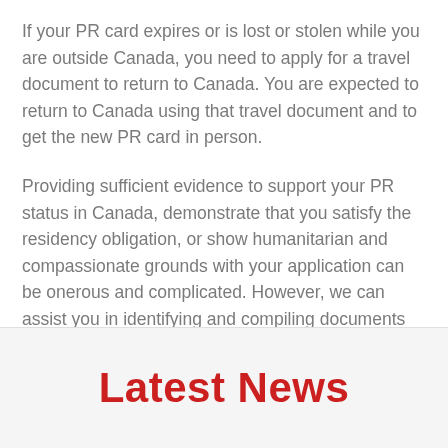If your PR card expires or is lost or stolen while you are outside Canada, you need to apply for a travel document to return to Canada. You are expected to return to Canada using that travel document and to get the new PR card in person.
Providing sufficient evidence to support your PR status in Canada, demonstrate that you satisfy the residency obligation, or show humanitarian and compassionate grounds with your application can be onerous and complicated. However, we can assist you in identifying and compiling documents that will facilitate a successful application.
Latest News